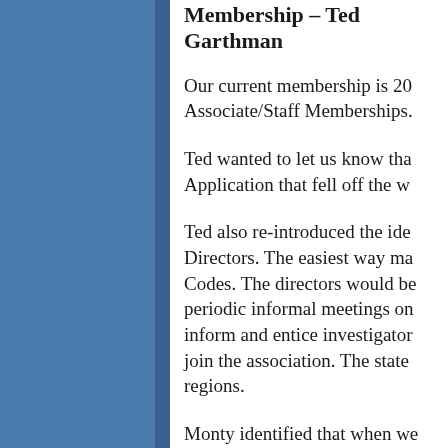Membership – Ted Garthman
Our current membership is 20... Associate/Staff Memberships.
Ted wanted to let us know tha... Application that fell off the w...
Ted also re-introduced the ide... Directors. The easiest way ma... Codes. The directors would be... periodic informal meetings on... inform and entice investigator... join the association. The state... regions.
Monty identified that when we... past, 25-30 investigators come...